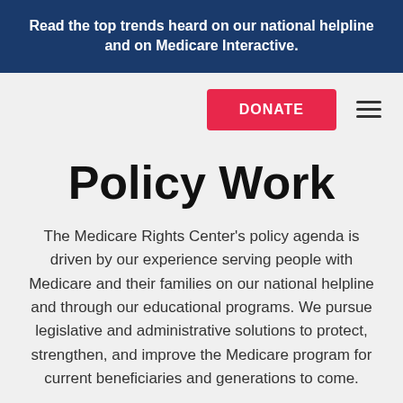Read the top trends heard on our national helpline and on Medicare Interactive.
Policy Work
The Medicare Rights Center's policy agenda is driven by our experience serving people with Medicare and their families on our national helpline and through our educational programs. We pursue legislative and administrative solutions to protect, strengthen, and improve the Medicare program for current beneficiaries and generations to come.